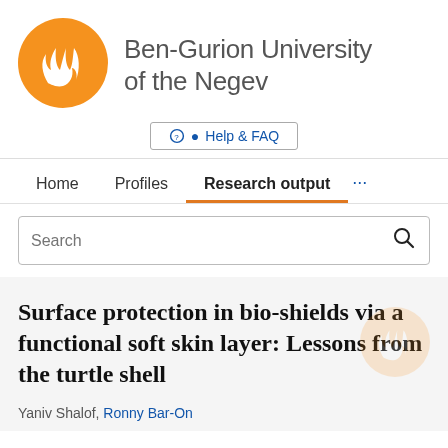[Figure (logo): Ben-Gurion University of the Negev logo: orange circle with white flame/figure icon, followed by university name text]
Help & FAQ
Home   Profiles   Research output   ...
Search
Surface protection in bio-shields via a functional soft skin layer: Lessons from the turtle shell
Yaniv Shalof, Ronny Bar-On